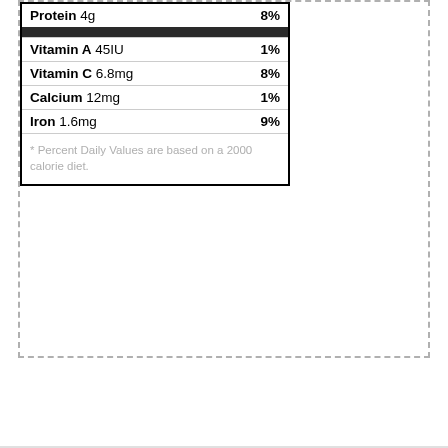| Nutrient | % Daily Value |
| --- | --- |
| Protein 4g | 8% |
| Vitamin A 45IU | 1% |
| Vitamin C 6.8mg | 8% |
| Calcium 12mg | 1% |
| Iron 1.6mg | 9% |
* Percent Daily Values are based on a 2000 calorie diet.